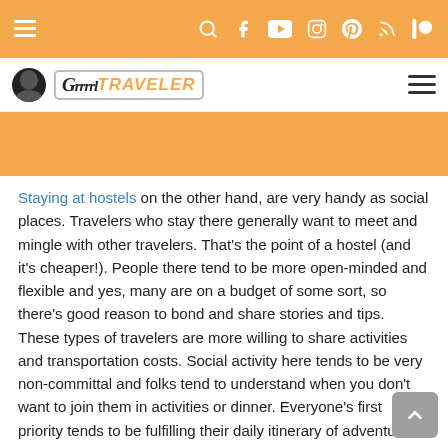Grrrltraveler website navigation bar with social media icons
[Figure (logo): Grrrltraveler website logo with avatar icon and hamburger menu]
[Figure (other): Orange banner/advertisement placeholder area]
Staying at hostels on the other hand, are very handy as social places. Travelers who stay there generally want to meet and mingle with other travelers. That’s the point of a hostel (and it’s cheaper!). People there tend to be more open-minded and flexible and yes, many are on a budget of some sort, so there’s good reason to bond and share stories and tips. These types of travelers are more willing to share activities and transportation costs. Social activity here tends to be very non-committal and folks tend to understand when you don’t want to join them in activities or dinner. Everyone’s first priority tends to be fulfilling their daily itinerary of adventure and experiences.